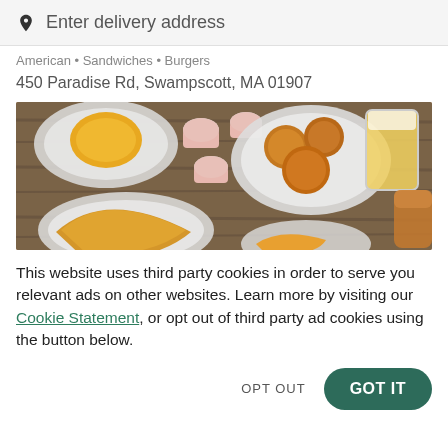Enter delivery address
American • Sandwiches • Burgers
450 Paradise Rd, Swampscott, MA 01907
[Figure (photo): Overhead view of food dishes on a wooden table: empanadas, fried foods in a white bowl, small pink dipping cups, a beer glass, and various other dishes]
This website uses third party cookies in order to serve you relevant ads on other websites. Learn more by visiting our Cookie Statement, or opt out of third party ad cookies using the button below.
OPT OUT
GOT IT